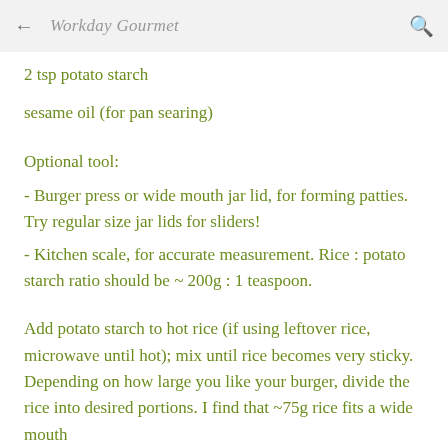← Workday Gourmet 🔍
2 tsp potato starch
sesame oil (for pan searing)
Optional tool:
- Burger press or wide mouth jar lid, for forming patties. Try regular size jar lids for sliders!
- Kitchen scale, for accurate measurement. Rice : potato starch ratio should be ~ 200g : 1 teaspoon.
Add potato starch to hot rice (if using leftover rice, microwave until hot); mix until rice becomes very sticky. Depending on how large you like your burger, divide the rice into desired portions. I find that ~75g rice fits a wide mouth